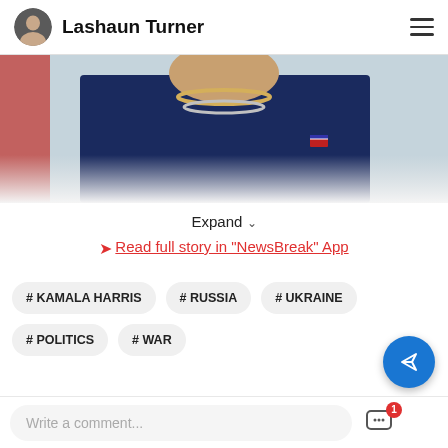Lashaun Turner
[Figure (photo): Partial photo of a woman wearing a dark jacket and pearl/gold necklace with an American flag pin visible, image cropped at neck/chest level]
Expand
Read full story in "NewsBreak" App
# KAMALA HARRIS
# RUSSIA
# UKRAINE
# POLITICS
# WAR
Write a comment...